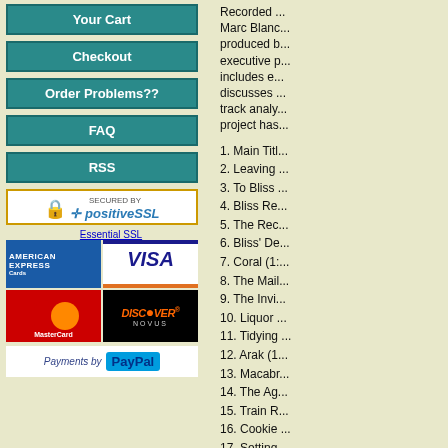Your Cart
Checkout
Order Problems??
FAQ
RSS
[Figure (logo): Secured by positiveSSL badge with padlock icon]
Essential SSL
[Figure (logo): Credit card logos: American Express, Visa, MasterCard, Discover]
[Figure (logo): Payments by PayPal logo]
Recorded ... Marc Blanc... produced ... executive ... includes e... discusses ... track analy... project has...
1. Main Titl...
2. Leaving ...
3. To Bliss ...
4. Bliss Re...
5. The Rec...
6. Bliss' De...
7. Coral (1:...
8. The Mail...
9. The Invi...
10. Liquor ...
11. Tidying ...
12. Arak (1...
13. Macabr...
14. The Ag...
15. Train R...
16. Cookie ...
17. Setting...
18. Julie ar...
19. The We...
20. Childho...
21. Switchi...
22. Morane...
23. Teache...